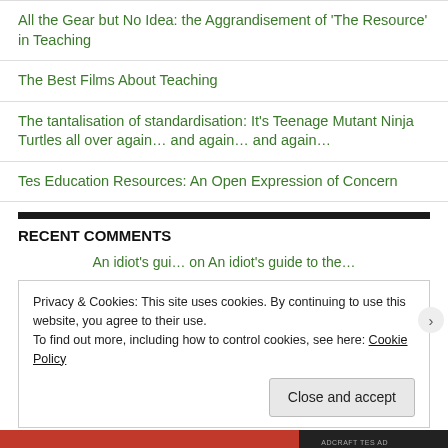All the Gear but No Idea: the Aggrandisement of ‘The Resource’ in Teaching
The Best Films About Teaching
The tantalisation of standardisation: It’s Teenage Mutant Ninja Turtles all over again… and again… and again…
Tes Education Resources: An Open Expression of Concern
RECENT COMMENTS
An idiot’s gui… on An idiot’s guide to the…
Privacy & Cookies: This site uses cookies. By continuing to use this website, you agree to their use.
To find out more, including how to control cookies, see here: Cookie Policy
Close and accept